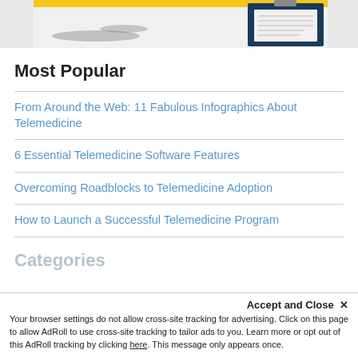[Figure (photo): Top portion of a medical/telemedicine webpage showing a photo of a stethoscope and clipboard with paper on a white surface, with a yellow header bar at the top.]
Most Popular
From Around the Web: 11 Fabulous Infographics About Telemedicine
6 Essential Telemedicine Software Features
Overcoming Roadblocks to Telemedicine Adoption
How to Launch a Successful Telemedicine Program
Categories
Accept and Close ×
Your browser settings do not allow cross-site tracking for advertising. Click on this page to allow AdRoll to use cross-site tracking to tailor ads to you. Learn more or opt out of this AdRoll tracking by clicking here. This message only appears once.